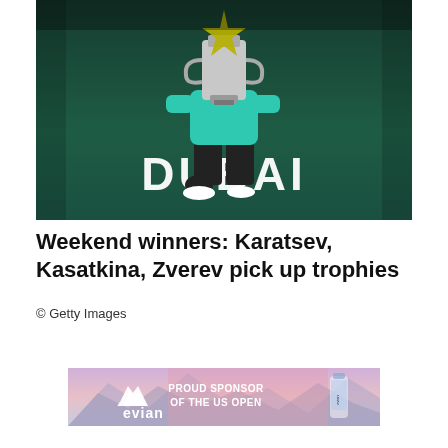[Figure (photo): Tennis player crouching on a green hard court holding a large trophy, with the word DUBAI written on the court surface in white letters. Player wears a teal/turquoise shirt.]
Weekend winners: Karatsev, Kasatkina, Zverev pick up trophies
© Getty Images
[Figure (photo): Evian advertisement banner: mountain landscape background with pink sky, evian logo on left, text 'PROUD SPONSOR OF THE US OPEN' in white on pink/blue gradient, water bottle on right.]